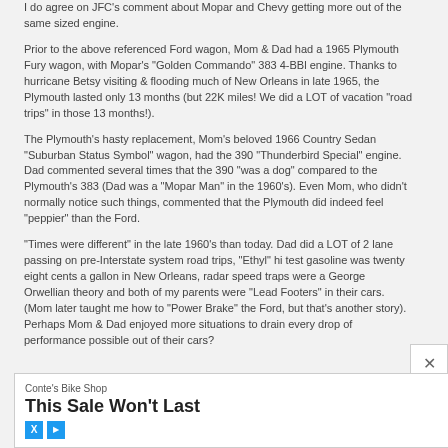I do agree on JFC's comment about Mopar and Chevy getting more out of the same sized engine.
Prior to the above referenced Ford wagon, Mom & Dad had a 1965 Plymouth Fury wagon, with Mopar's "Golden Commando" 383 4-BBl engine. Thanks to hurricane Betsy visiting & flooding much of New Orleans in late 1965, the Plymouth lasted only 13 months (but 22K miles! We did a LOT of vacation "road trips" in those 13 months!).
The Plymouth's hasty replacement, Mom's beloved 1966 Country Sedan "Suburban Status Symbol" wagon, had the 390 "Thunderbird Special" engine. Dad commented several times that the 390 "was a dog" compared to the Plymouth's 383 (Dad was a "Mopar Man" in the 1960's). Even Mom, who didn't normally notice such things, commented that the Plymouth did indeed feel "peppier" than the Ford.
"Times were different" in the late 1960's than today. Dad did a LOT of 2 lane passing on pre-Interstate system road trips, "Ethyl" hi test gasoline was twenty eight cents a gallon in New Orleans, radar speed traps were a George Orwellian theory and both of my parents were "Lead Footers" in their cars. (Mom later taught me how to "Power Brake" the Ford, but that's another story). Perhaps Mom & Dad enjoyed more situations to drain every drop of performance possible out of their cars?
[Figure (other): Advertisement banner for Conte's Bike Shop with 'This Sale Won't Last' headline and 'SHOP NOW' button]